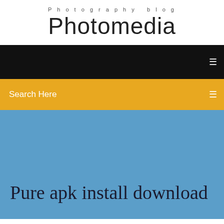Photography blog
Photomedia
[Figure (screenshot): Black navigation bar with white menu icon on the right]
[Figure (screenshot): Yellow/amber search bar with 'Search Here' text and search icon on the right]
[Figure (screenshot): Blue hero section background]
Pure apk install download